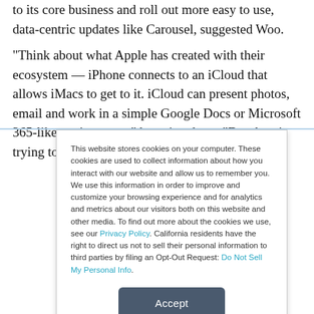to its core business and roll out more easy to use, data-centric updates like Carousel, suggested Woo.
“Think about what Apple has created with their ecosystem — iPhone connects to an iCloud that allows iMacs to get to it. iCloud can present photos, email and work in a simple Google Docs or Microsoft 365-like environment,” he pointed out. “Dropbox is trying to do the same. They need to keep it
This website stores cookies on your computer. These cookies are used to collect information about how you interact with our website and allow us to remember you. We use this information in order to improve and customize your browsing experience and for analytics and metrics about our visitors both on this website and other media. To find out more about the cookies we use, see our Privacy Policy. California residents have the right to direct us not to sell their personal information to third parties by filing an Opt-Out Request: Do Not Sell My Personal Info.